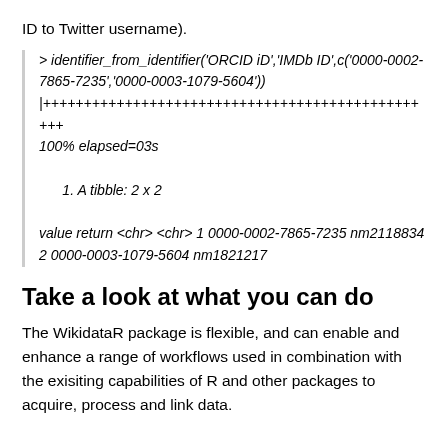ID to Twitter username).
> identifier_from_identifier('ORCID iD','IMDb ID',c('0000-0002-7865-7235','0000-0003-1079-5604'))
|++++++++++++++++++++++++++++++++++++++++++++++++
100% elapsed=03s

   1. A tibble: 2 x 2

value return <chr> <chr> 1 0000-0002-7865-7235 nm2118834 2 0000-0003-1079-5604 nm1821217
Take a look at what you can do
The WikidataR package is flexible, and can enable and enhance a range of workflows used in combination with the exisiting capabilities of R and other packages to acquire, process and link data.